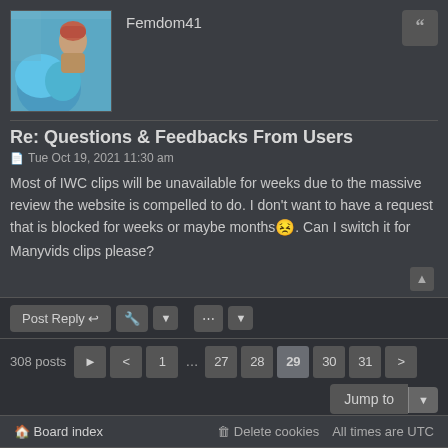Femdom41
[Figure (photo): User avatar showing a person in blue outfit]
Re: Questions & Feedbacks From Users
Tue Oct 19, 2021 11:30 am
Most of IWC clips will be unavailable for weeks due to the massive review the website is compelled to do. I don't want to have a request that is blocked for weeks or maybe months 😣. Can I switch it for Manyvids clips please?
Post Reply
308 posts  1 ... 27  28  29  30  31
Jump to
Board index  Delete cookies  All times are UTC
Privacy | Terms